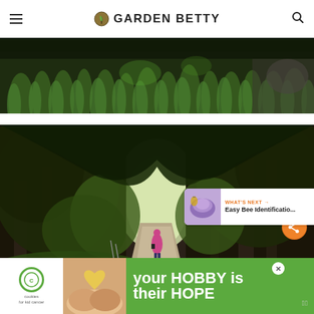Garden Betty
[Figure (photo): Close-up photo of green grass and foliage with dark background]
[Figure (photo): A person walking along a tree-lined path forming a natural tunnel of green trees. Share button visible in lower right. What's Next banner showing 'Easy Bee Identificatio...']
[Figure (photo): Advertisement banner: 'your HOBBY is their HOPE' with cookies for kid cancer logo]